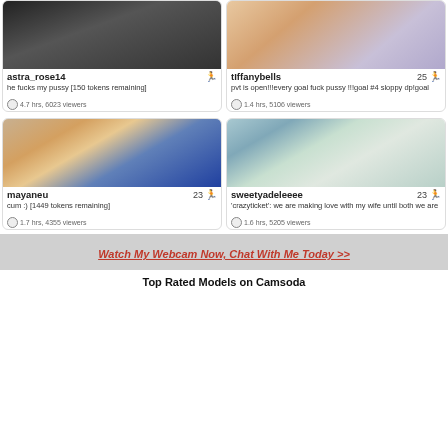[Figure (screenshot): Thumbnail image for astra_rose14 webcam stream]
astra_rose14
he fucks my pussy [150 tokens remaining]
4.7 hrs, 6023 viewers
[Figure (screenshot): Thumbnail image for tIffanybells webcam stream]
tIffanybells 25
pvt is open!!!every goal fuck pussy !!!goal #4 sloppy dp!goal
1.4 hrs, 5106 viewers
[Figure (screenshot): Thumbnail image for mayaneu webcam stream]
mayaneu 23
cum :) [1449 tokens remaining]
1.7 hrs, 4355 viewers
[Figure (screenshot): Thumbnail image for sweetyadeleeee webcam stream]
sweetyadeleeee 23
'crazyticket': we are making love with my wife until both we are
1.6 hrs, 5205 viewers
Watch My Webcam Now, Chat With Me Today >>
Top Rated Models on Camsoda